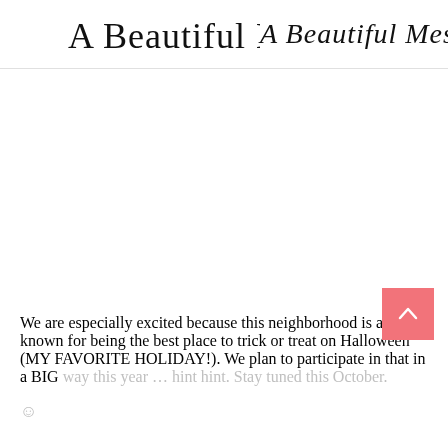A Beautiful Mess
We are especially excited because this neighborhood is also known for being the best place to trick or treat on Halloween (MY FAVORITE HOLIDAY!). We plan to participate in that in a BIG way this year … hint hint. Stay tuned this October. ☺